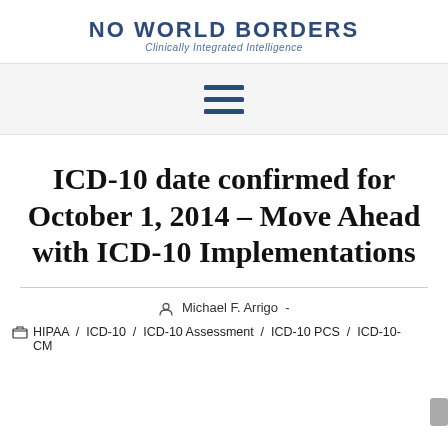NO WORLD BORDERS
Clinically Integrated Intelligence
[Figure (other): Hamburger menu icon with three horizontal dark blue lines]
ICD-10 date confirmed for October 1, 2014 – Move Ahead with ICD-10 Implementations
Michael F. Arrigo -
HIPAA / ICD-10 / ICD-10 Assessment / ICD-10 PCS / ICD-10-CM